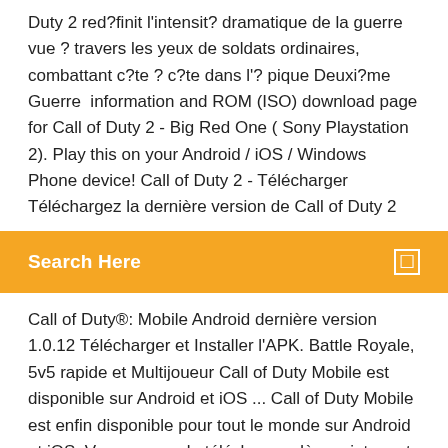Duty 2 red?finit l'intensit? dramatique de la guerre vue ? travers les yeux de soldats ordinaires, combattant c?te ? c?te dans l'? pique Deuxi?me Guerre  information and ROM (ISO) download page for Call of Duty 2 - Big Red One ( Sony Playstation 2). Play this on your Android / iOS / Windows Phone device! Call of Duty 2 - Télécharger Téléchargez la dernière version de Call of Duty 2
Search Here
Call of Duty®: Mobile Android dernière version 1.0.12 Télécharger et Installer l'APK. Battle Royale, 5v5 rapide et Multijoueur Call of Duty Mobile est disponible sur Android et iOS ... Call of Duty Mobile est enfin disponible pour tout le monde sur Android et iOS. Vous pouvez le télécharger dès maintenant et gratuitement. Le jeu suit en effet un modèle free-to-play. télécharger call of duty gratuit (android) 29/05/2014 · télécharger call of duty android, call of duty android, call of duty android télécharger gratuit